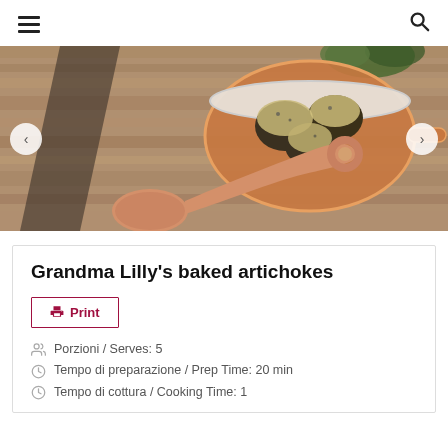≡  🔍
[Figure (photo): A copper pan with baked artichokes topped with breadcrumbs, alongside a copper spoon and herbs on a wooden surface. Navigation arrows on left and right sides of the image.]
Grandma Lilly's baked artichokes
Print
Porzioni / Serves: 5
Tempo di preparazione / Prep Time: 20 min
Tempo di cottura / Cooking Time: 1